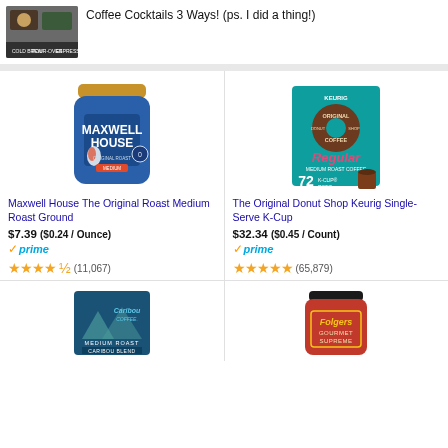[Figure (photo): Thumbnail image of coffee cocktails video - Cold Brew, Pour-Over, Espresso]
Coffee Cocktails 3 Ways! (ps. I did a thing!)
[Figure (photo): Maxwell House The Original Roast Medium Roast Ground Coffee jar, blue with gold lid]
Maxwell House The Original Roast Medium Roast Ground
$7.39 ($0.24 / Ounce)
prime
★★★★½ (11,067)
[Figure (photo): The Original Donut Shop Keurig Single-Serve K-Cup box, teal, 72 K-Cup Pods]
The Original Donut Shop Keurig Single-Serve K-Cup
$32.34 ($0.45 / Count)
prime
★★★★★ (65,879)
[Figure (photo): Caribou Coffee Medium Roast Caribou Blend K-Cup box, blue]
[Figure (photo): Folgers Gourmet Supreme coffee jar, red with black lid]